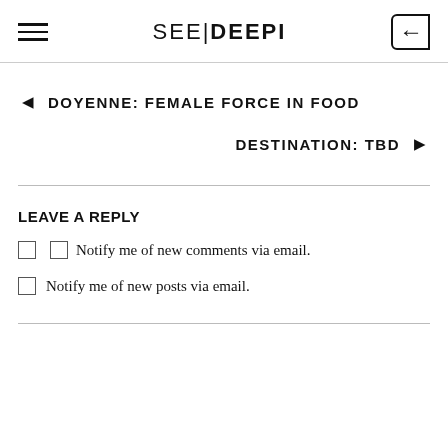SEE|DEEPI
◄ DOYENNE: FEMALE FORCE IN FOOD
DESTINATION: TBD ►
LEAVE A REPLY
Notify me of new comments via email.
Notify me of new posts via email.